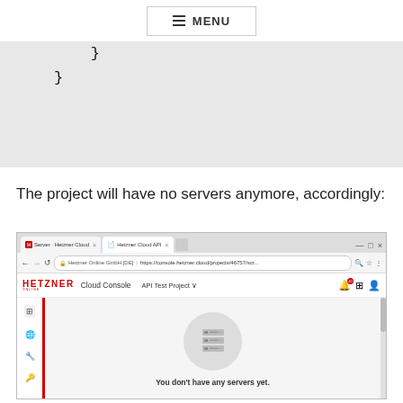MENU
}
}
The project will have no servers anymore, accordingly:
[Figure (screenshot): Screenshot of Hetzner Cloud Console in a browser showing 'You don't have any servers yet.' with an empty server list and sidebar navigation icons.]